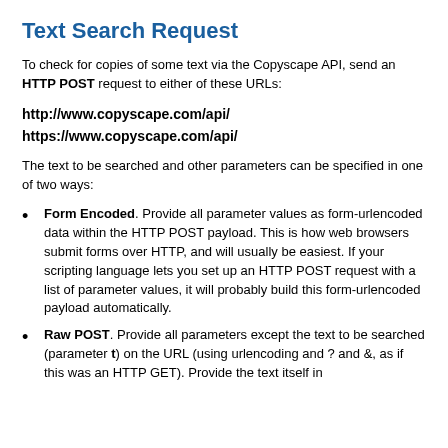Text Search Request
To check for copies of some text via the Copyscape API, send an HTTP POST request to either of these URLs:
http://www.copyscape.com/api/
https://www.copyscape.com/api/
The text to be searched and other parameters can be specified in one of two ways:
Form Encoded. Provide all parameter values as form-urlencoded data within the HTTP POST payload. This is how web browsers submit forms over HTTP, and will usually be easiest. If your scripting language lets you set up an HTTP POST request with a list of parameter values, it will probably build this form-urlencoded payload automatically.
Raw POST. Provide all parameters except the text to be searched (parameter t) on the URL (using urlencoding and ? and &, as if this was an HTTP GET). Provide the text itself in